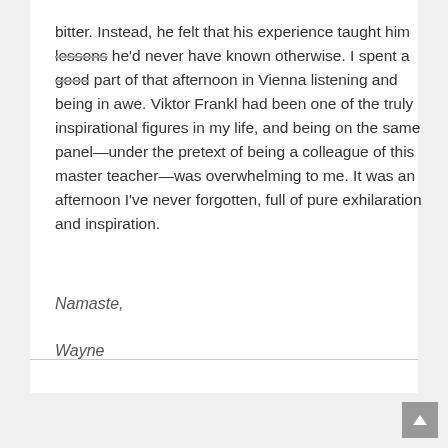bitter. Instead, he felt that his experience taught him lessons he'd never have known otherwise. I spent a good part of that afternoon in Vienna listening and being in awe. Viktor Frankl had been one of the truly inspirational figures in my life, and being on the same panel—under the pretext of being a colleague of this master teacher—was overwhelming to me. It was an afternoon I've never forgotten, full of pure exhilaration and inspiration.
Namaste,

Wayne